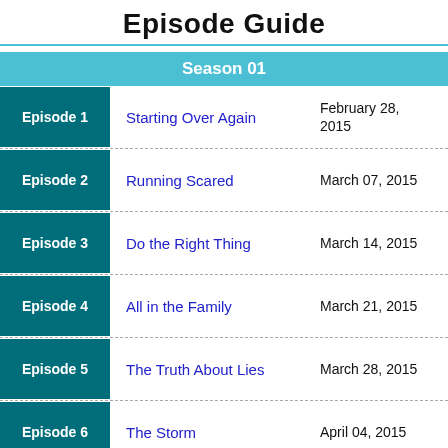Episode Guide
Season 01
| Episode | Title | Date |
| --- | --- | --- |
| Episode 1 | Starting Over Again | February 28, 2015 |
| Episode 2 | Running Scared | March 07, 2015 |
| Episode 3 | Do the Right Thing | March 14, 2015 |
| Episode 4 | All in the Family | March 21, 2015 |
| Episode 5 | The Truth About Lies | March 28, 2015 |
| Episode 6 | The Storm | April 04, 2015 |
| Episode 7 | Together We Stand | April 11, 2015 |